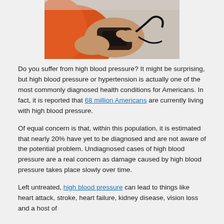[Figure (photo): Close-up photo of a healthcare provider taking a patient's blood pressure with a sphygmomanometer. The patient is wearing a red/orange garment and the clinician's hands are visible holding the cuff device.]
Do you suffer from high blood pressure? It might be surprising, but high blood pressure or hypertension is actually one of the most commonly diagnosed health conditions for Americans. In fact, it is reported that 68 million Americans are currently living with high blood pressure.
Of equal concern is that, within this population, it is estimated that nearly 20% have yet to be diagnosed and are not aware of the potential problem. Undiagnosed cases of high blood pressure are a real concern as damage caused by high blood pressure takes place slowly over time.
Left untreated, high blood pressure can lead to things like heart attack, stroke, heart failure, kidney disease, vision loss and a host of